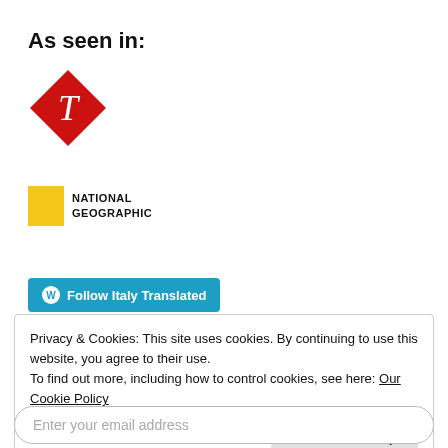As seen in:
[Figure (logo): The Telegraph newspaper logo — red diamond shape with a stylized 'T' letter in white]
[Figure (logo): National Geographic logo — yellow rectangle beside bold uppercase text reading NATIONAL GEOGRAPHIC]
[Figure (other): Blue button with WordPress logo icon and text 'Follow Italy Translated']
Privacy & Cookies: This site uses cookies. By continuing to use this website, you agree to their use.
To find out more, including how to control cookies, see here: Our Cookie Policy
Close and accept
Enter your email address